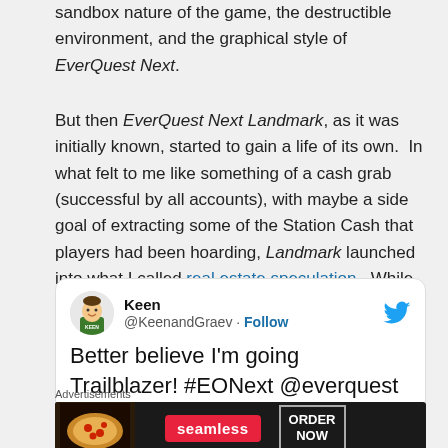sandbox nature of the game, the destructible environment, and the graphical style of EverQuest Next.
But then EverQuest Next Landmark, as it was initially known, started to gain a life of its own. In what felt to me like something of a cash grab (successful by all accounts), with maybe a side goal of extracting some of the Station Cash that players had been hoarding, Landmark launched into what I called real estate speculation. While some were enthusiastic about the idea...
[Figure (screenshot): Embedded tweet from @KeenandGraev: 'Better believe I'm going Trailblazer! #EONext @everquest next']
[Figure (other): Seamless food delivery advertisement banner with pizza image, 'seamless' logo and 'ORDER NOW' button]